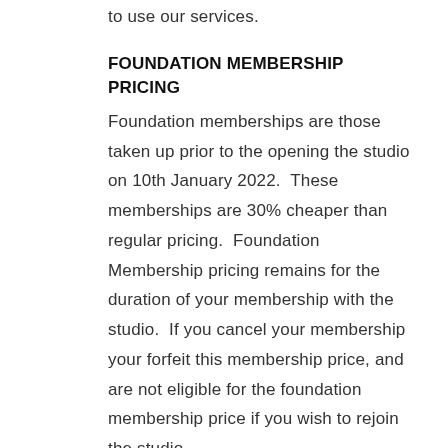to use our services.
FOUNDATION MEMBERSHIP PRICING
Foundation memberships are those taken up prior to the opening the studio on 10th January 2022.  These memberships are 30% cheaper than regular pricing.  Foundation Membership pricing remains for the duration of your membership with the studio.  If you cancel your membership your forfeit this membership price, and are not eligible for the foundation membership price if you wish to rejoin the studio.